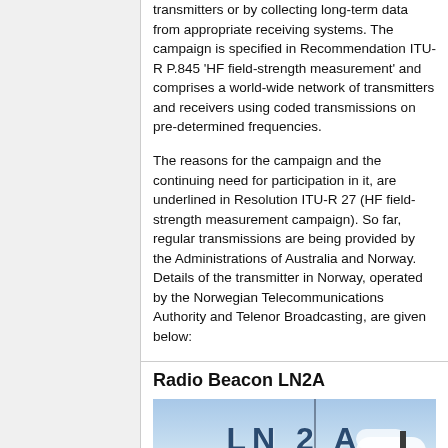transmitters or by collecting long-term data from appropriate receiving systems. The campaign is specified in Recommendation ITU-R P.845 'HF field-strength measurement' and comprises a world-wide network of transmitters and receivers using coded transmissions on pre-determined frequencies.
The reasons for the campaign and the continuing need for participation in it, are underlined in Resolution ITU-R 27 (HF field-strength measurement campaign). So far, regular transmissions are being provided by the Administrations of Australia and Norway. Details of the transmitter in Norway, operated by the Norwegian Telecommunications Authority and Telenor Broadcasting, are given below:
Radio Beacon LN2A
[Figure (photo): Photograph of the LN2A radio beacon with text 'LN 2 A' and subtitle 'ITU HCF Radio Beacon - Radio Station', showing antenna structure against a sky with clouds.]